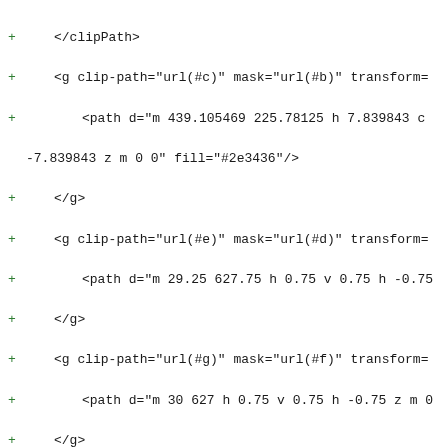+     </clipPath>
+     <g clip-path="url(#c)" mask="url(#b)" transform=...
+         <path d="m 439.105469 225.78125 h 7.839843 c
-7.839843 z m 0 0" fill="#2e3436"/>
+     </g>
+     <g clip-path="url(#e)" mask="url(#d)" transform=...
+         <path d="m 29.25 627.75 h 0.75 v 0.75 h -0.75
+     </g>
+     <g clip-path="url(#g)" mask="url(#f)" transform=...
+         <path d="m 30 627 h 0.75 v 0.75 h -0.75 z m 0
+     </g>
+     <g clip-path="url(#i)" mask="url(#h)" transform=...
+         <path d="m 30.75 629.25 h 0.75 v 0.75 h -0.75
+     </g>
+     <g clip-path="url(#k)" mask="url(#j)" transform=...
+         <path d="m 29.25 629.25 h 0.75 v 0.75 h -0.75
+     </g>
+     <g clip-path="url(#m)" mask="url(#l)" transform=...
+         <path d="m 30 630 h 0.75 v 0.75 h -0.75 z m 0
+     </g>